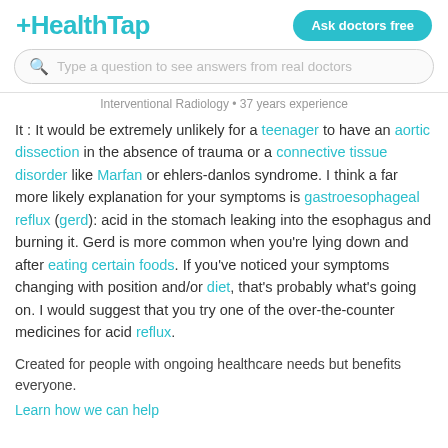HealthTap
Type a question to see answers from real doctors
Interventional Radiology • 37 years experience
It : It would be extremely unlikely for a teenager to have an aortic dissection in the absence of trauma or a connective tissue disorder like Marfan or ehlers-danlos syndrome. I think a far more likely explanation for your symptoms is gastroesophageal reflux (gerd): acid in the stomach leaking into the esophagus and burning it. Gerd is more common when you're lying down and after eating certain foods. If you've noticed your symptoms changing with position and/or diet, that's probably what's going on. I would suggest that you try one of the over-the-counter medicines for acid reflux.
Created for people with ongoing healthcare needs but benefits everyone.
Learn how we can help